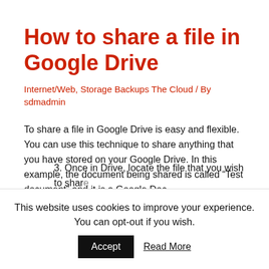How to share a file in Google Drive
Internet/Web, Storage Backups The Cloud / By sdmadmin
To share a file in Google Drive is easy and flexible. You can use this technique to share anything that you have stored on your Google Drive. In this example, the document being shared is called “Test document” and it is a Google Doc.
1. Go to drive.google.com and click on “Go to Google Drive”
2. From here you will need to sign in if you are not already
3. Once in Drive, locate the file that you wish to share
This website uses cookies to improve your experience. You can opt-out if you wish.